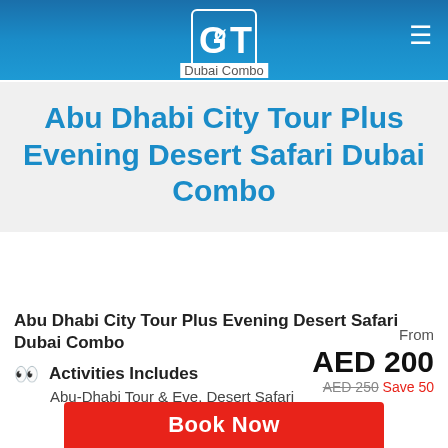GoT Dubai Combo
Abu Dhabi City Tour Plus Evening Desert Safari Dubai Combo
Abu Dhabi City Tour Plus Evening Desert Safari Dubai Combo
Activities Includes
Abu-Dhabi Tour & Eve. Desert Safari
From AED 200 AED 250 Save 50
Book Now